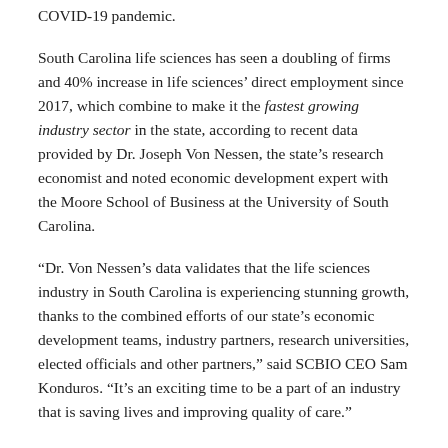COVID-19 pandemic.
South Carolina life sciences has seen a doubling of firms and 40% increase in life sciences' direct employment since 2017, which combine to make it the fastest growing industry sector in the state, according to recent data provided by Dr. Joseph Von Nessen, the state's research economist and noted economic development expert with the Moore School of Business at the University of South Carolina.
“Dr. Von Nessen’s data validates that the life sciences industry in South Carolina is experiencing stunning growth, thanks to the combined efforts of our state’s economic development teams, industry partners, research universities, elected officials and other partners,” said SCBIO CEO Sam Konduros. “It’s an exciting time to be a part of an industry that is saving lives and improving quality of care.”
The industry has a $12+ billion economic impact in the Palmetto State, with more than 800 firms located in 42 of 46 counties, and employs more than 43,000…